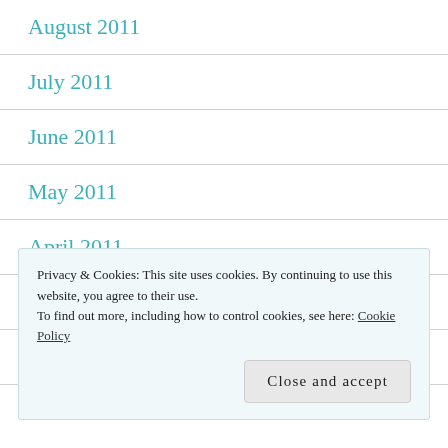August 2011
July 2011
June 2011
May 2011
April 2011
March 2011
February 2011
Privacy & Cookies: This site uses cookies. By continuing to use this website, you agree to their use. To find out more, including how to control cookies, see here: Cookie Policy
Close and accept